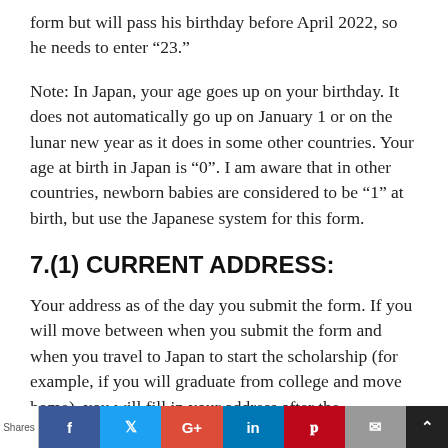form but will pass his birthday before April 2022, so he needs to enter “23.”
Note: In Japan, your age goes up on your birthday. It does not automatically go up on January 1 or on the lunar new year as it does in some other countries. Your age at birth in Japan is “0”. I am aware that in other countries, newborn babies are considered to be “1” at birth, but use the Japanese system for this form.
7.(1) CURRENT ADDRESS:
Your address as of the day you submit the form. If you will move between when you submit the form and when you travel to Japan to start the scholarship (for example, if you will graduate from college and move home), you will fill in your address after the